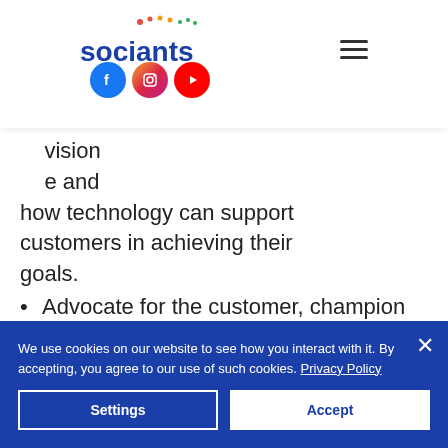[Figure (logo): Sociants logo with colorful dots above text and social media icons (Facebook, Instagram, YouTube) below, plus hamburger menu icon]
...vision ...e and how technology can support customers in achieving their goals.
Advocate for the customer, champion their success.
Develop industry, regional, and state specific strategies for
We use cookies on our website to see how you interact with it. By accepting, you agree to our use of such cookies. Privacy Policy
Settings | Accept